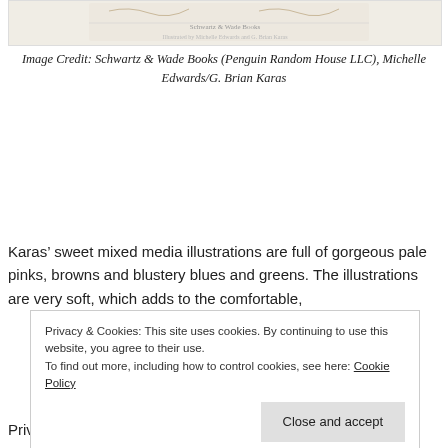[Figure (illustration): Partial view of a book cover illustration — Schwartz & Wade Books publication with faded decorative imagery]
Image Credit: Schwartz & Wade Books (Penguin Random House LLC), Michelle Edwards/G. Brian Karas
Karas’ sweet mixed media illustrations are full of gorgeous pale pinks, browns and blustery blues and greens. The illustrations are very soft, which adds to the comfortable,
Privacy & Cookies: This site uses cookies. By continuing to use this website, you agree to their use.
To find out more, including how to control cookies, see here: Cookie Policy
Close and accept
Priv...